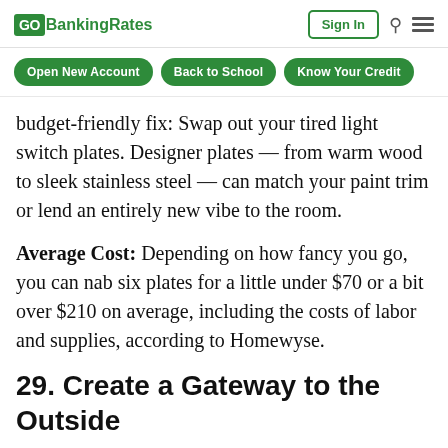GO BankingRates | Sign In
Open New Account | Back to School | Know Your Credit
budget-friendly fix: Swap out your tired light switch plates. Designer plates — from warm wood to sleek stainless steel — can match your paint trim or lend an entirely new vibe to the room.
Average Cost: Depending on how fancy you go, you can nab six plates for a little under $70 or a bit over $210 on average, including the costs of labor and supplies, according to Homewyse.
29. Create a Gateway to the Outside